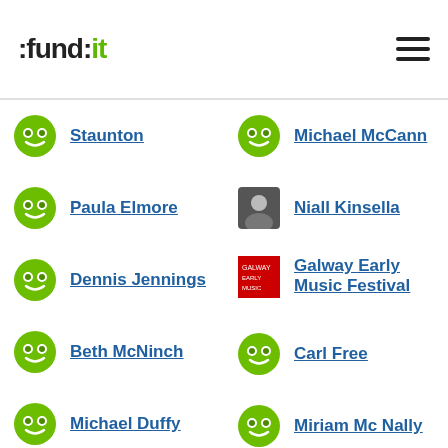:fund:it
Staunton
Michael McCann
Paula Elmore
Niall Kinsella
Dennis Jennings
Galway Early Music Festival
Beth McNinch
Carl Free
Michael Duffy
Miriam Mc Nally
Siobhan Armstrong
Tricia Lyle-Stirling
James Duffy
Disella Larusdottir
Eamon McCarthy
Joe Hayes